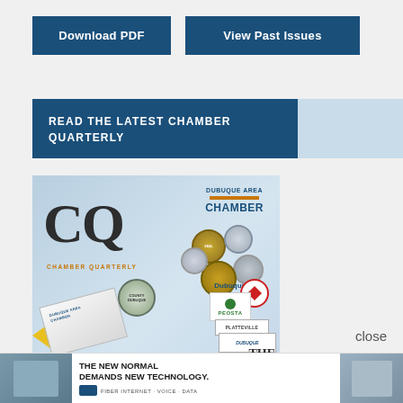Download PDF
View Past Issues
READ THE LATEST CHAMBER QUARTERLY
[Figure (photo): Cover of Chamber Quarterly magazine showing CQ logo, Dubuque Area Chamber branding, various local organization logos, and a megaphone graphic]
close
[Figure (photo): Advertisement banner: THE NEW NORMAL DEMANDS NEW TECHNOLOGY. Business fiber internet voice data provider ad with people in office photos.]